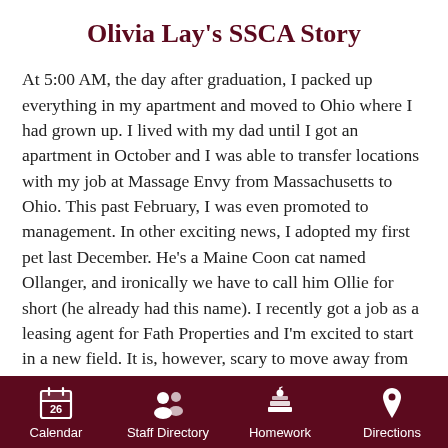Olivia Lay's SSCA Story
At 5:00 AM, the day after graduation, I packed up everything in my apartment and moved to Ohio where I had grown up. I lived with my dad until I got an apartment in October and I was able to transfer locations with my job at Massage Envy from Massachusetts to Ohio. This past February, I was even promoted to management. In other exciting news, I adopted my first pet last December. He's a Maine Coon cat named Ollanger, and ironically we have to call him Ollie for short (he already had this name). I recently got a job as a leasing agent for Fath Properties and I'm excited to start in a new field. It is, however, scary to move away from something familiar. I look forward to moving into a cheaper apartment soon in order to save up to buy a house in the near future!
Calendar  Staff Directory  Homework  Directions